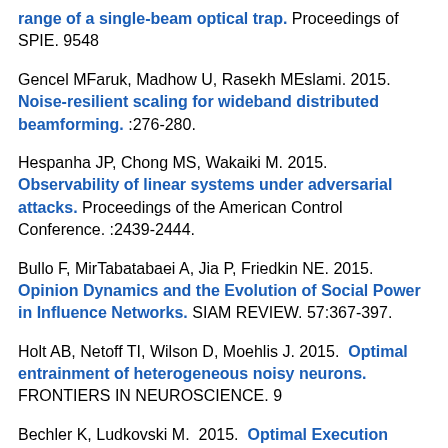range of a single-beam optical trap. Proceedings of SPIE. 9548
Gencel MFaruk, Madhow U, Rasekh MEslami. 2015. Noise-resilient scaling for wideband distributed beamforming. :276-280.
Hespanha JP, Chong MS, Wakaiki M. 2015. Observability of linear systems under adversarial attacks. Proceedings of the American Control Conference. :2439-2444.
Bullo F, MirTabatabaei A, Jia P, Friedkin NE. 2015. Opinion Dynamics and the Evolution of Social Power in Influence Networks. SIAM REVIEW. 57:367-397.
Holt AB, Netoff TI, Wilson D, Moehlis J. 2015. Optimal entrainment of heterogeneous noisy neurons. FRONTIERS IN NEUROSCIENCE. 9
Bechler K, Ludkovski M. 2015. Optimal Execution